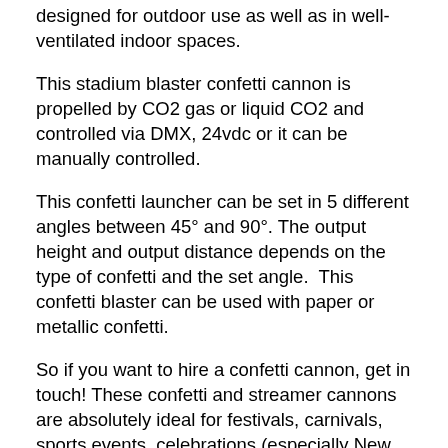designed for outdoor use as well as in well-ventilated indoor spaces.
This stadium blaster confetti cannon is propelled by CO2 gas or liquid CO2 and controlled via DMX, 24vdc or it can be manually controlled.
This confetti launcher can be set in 5 different angles between 45° and 90°. The output height and output distance depends on the type of confetti and the set angle.  This confetti blaster can be used with paper or metallic confetti.
So if you want to hire a confetti cannon, get in touch! These confetti and streamer cannons are absolutely ideal for festivals, carnivals, sports events, celebrations (especially New Year's eve!)  and product launches.
These are professional grade and the cannon of choice for professionals in every sector of the entertainment and event business. This confetti machines is designed to withstand the rigours of professional use and are tested to the highest industry standards.